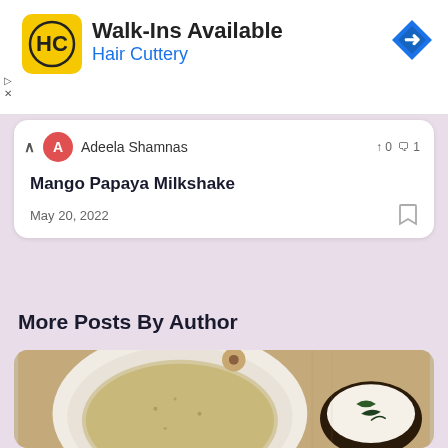[Figure (screenshot): Advertisement banner for Hair Cuttery with yellow logo, 'Walk-Ins Available' text and blue 'Hair Cuttery' subtitle, navigation arrow icon on right]
Adeela Shamnas
Mango Papaya Milkshake
May 20, 2022
More Posts By Author
[Figure (photo): Food photo showing a flatbread/roti on a white plate with wicker mat background, and a small bowl with a white curry/sauce garnished with curry leaves]